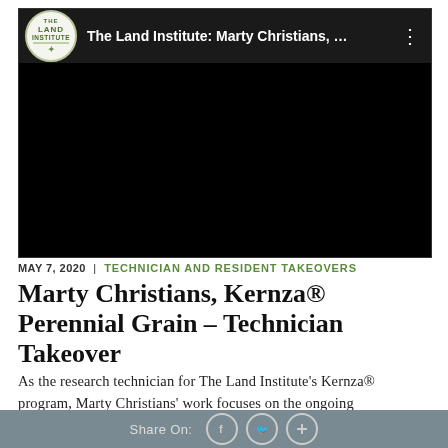[Figure (screenshot): Embedded YouTube-style video player with The Land Institute logo and title 'The Land Institute: Marty Christians, …' in the header bar. The video content area is entirely black.]
MAY 7, 2020 | TECHNICIAN AND RESIDENT TAKEOVERS
Marty Christians, Kernza® Perennial Grain – Technician Takeover
As the research technician for The Land Institute's Kernza® program, Marty Christians' work focuses on the ongoing domestication of this perennial grain. Here, he explains two
Share On: